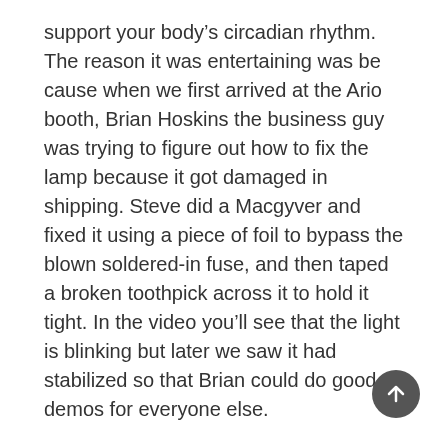support your body's circadian rhythm. The reason it was entertaining was be cause when we first arrived at the Ario booth, Brian Hoskins the business guy was trying to figure out how to fix the lamp because it got damaged in shipping. Steve did a Macgyver and fixed it using a piece of foil to bypass the blown soldered-in fuse, and then taped a broken toothpick across it to hold it tight. In the video you'll see that the light is blinking but later we saw it had stabilized so that Brian could do good demos for everyone else.
Engadget Live – Ario Healthy Lamp
And finally we got to play with two interesting Lenovo tablets, the 8" Yoga Tablet 2 with Windows and the